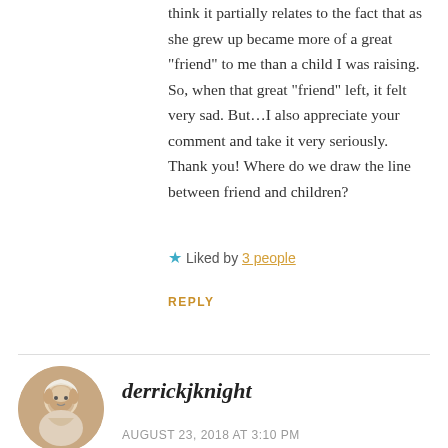think it partially relates to the fact that as she grew up became more of a great “friend” to me than a child I was raising. So, when that great “friend” left, it felt very sad. But…I also appreciate your comment and take it very seriously. Thank you! Where do we draw the line between friend and children?
Liked by 3 people
REPLY
derrickjknight
AUGUST 23, 2018 AT 3:10 PM